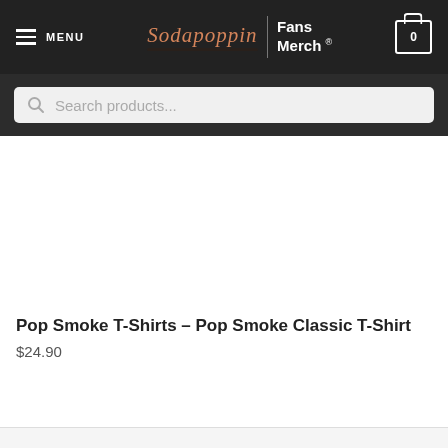MENU | Sodapoppin Fans Merch ® | Cart 0
Search products...
[Figure (photo): Product image placeholder (white/blank area for t-shirt product photo)]
Pop Smoke T-Shirts – Pop Smoke Classic T-Shirt
$24.90